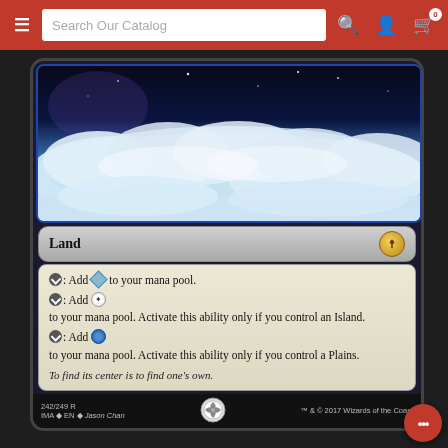[Figure (screenshot): Navigation bar with hamburger menu, search box labeled 'Search Our Catalog', search icon, user icon, and cart icon with badge '0']
[Figure (illustration): Magic: The Gathering card showing a sky scene with clouds and stars. Card type line reads 'Land' with a set symbol. Text box contains three tap abilities adding mana to pool, with conditions for Island and Plains control. Flavor text reads 'To find its center is to find one's own.' Collector number 242/249 R, IMA EN, artist Jason Chan, TM & copyright 2017 Wizards of the Coast.]